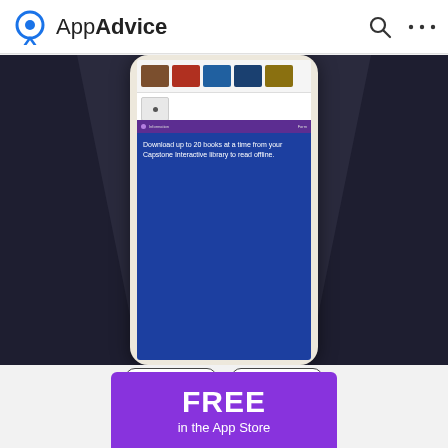AppAdvice
[Figure (screenshot): App screenshot showing a mobile phone mockup with a bookshelf interface and blue screen reading 'Download up to 20 books at a time from your Capstone Interactive library to read offline.' on a dark purple/navy background]
[Figure (infographic): iPhone and iPad device type buttons with icons]
FREE in the App Store